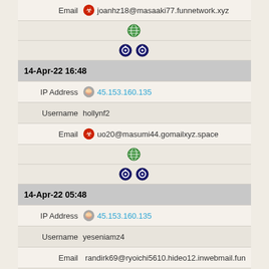| Email | joanhz18@masaaki77.funnetwork.xyz |
| [globe icon] |
| [tor icons] |
| 14-Apr-22 16:48 |
| IP Address | 45.153.160.135 |
| Username | hollynf2 |
| Email | uo20@masumi44.gomailxyz.space |
| [globe icon] |
| [tor icons] |
| 14-Apr-22 05:48 |
| IP Address | 45.153.160.135 |
| Username | yeseniamz4 |
| Email | randirk69@ryoichi5610.hideo12.inwebmail.fun |
| [globe icon] |
| [tor icon] |
| 13-Apr-22 09:58 |
| IP Address | 45.153.160.135 |